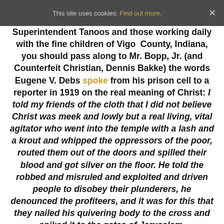This site uses cookies: Find out more. ×
Superintendent Tanoos and those working daily with the fine children of Vigo County, Indiana, you should pass along to Mr. Bopp, Jr. (and Counterfeit Christian, Dennis Bakke) the words Eugene V. Debs spoke from his prison cell to a reporter in 1919 on the real meaning of Christ: I told my friends of the cloth that I did not believe Christ was meek and lowly but a real living, vital agitator who went into the temple with a lash and a krout and whipped the oppressors of the poor, routed them out of the doors and spilled their blood and got silver on the floor. He told the robbed and misruled and exploited and driven people to disobey their plunderers, he denounced the profiteers, and it was for this that they nailed his quivering body to the cross and spiked it to the gates of Jerusalem,